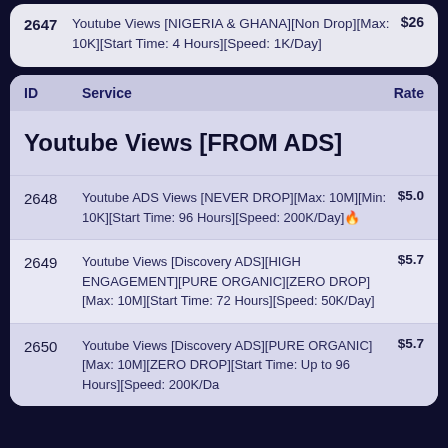| ID | Service | Rate |
| --- | --- | --- |
| 2647 | Youtube Views [NIGERIA & GHANA][Non Drop][Max: 10K][Start Time: 4 Hours][Speed: 1K/Day] | $26 |
| 2648 | Youtube ADS Views [NEVER DROP][Max: 10M][Min: 10K][Start Time: 96 Hours][Speed: 200K/Day]🔥 | $5.0 |
| 2649 | Youtube Views [Discovery ADS][HIGH ENGAGEMENT][PURE ORGANIC][ZERO DROP][Max: 10M][Start Time: 72 Hours][Speed: 50K/Day] | $5.7 |
| 2650 | Youtube Views [Discovery ADS][PURE ORGANIC][Max: 10M][ZERO DROP][Start Time: Up to 96 Hours][Speed: 200K/Da | $5.7 |